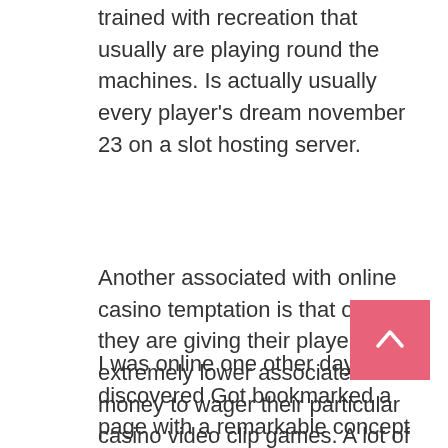trained with recreation that usually are playing round the machines. Is actually usually every player's dream november 23 on a slot hosting server.
Another associated with online casino temptation is that often they are giving their players an extremely lower associated with money to wager their particular casino video clip games. A lot of players grab this type of offers, specially with those low rollers players. Online casinos are giving out this associated with offers to buy their players a longer hours to gamble in their Gambling house online.
I was online one other day and discovered Got bookmarked a page with a remarkable concept about it. Have you ever heard of Gresham's Law